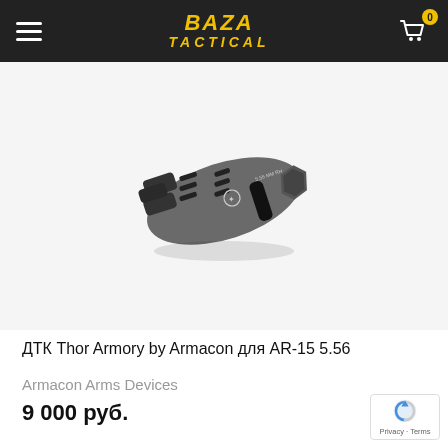BAZA TACTICAL
[Figure (photo): A muzzle brake/compensator device - ДТК Thor Armory by Armacon for AR-15 5.56, shown in grey/black metal finish with slots and vents, on a light grey background.]
ДТК Thor Armory by Armacon для AR-15 5.56
Armacon Arms Devices
9 000 руб.